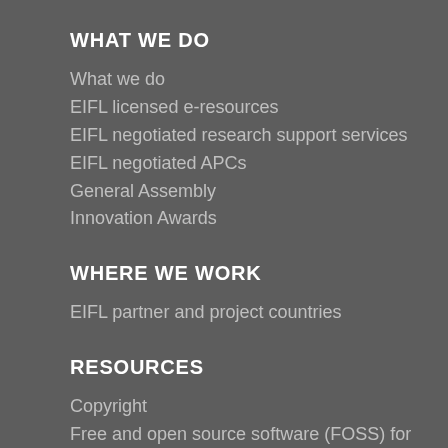WHAT WE DO
What we do
EIFL licensed e-resources
EIFL negotiated research support services
EIFL negotiated APCs
General Assembly
Innovation Awards
WHERE WE WORK
EIFL partner and project countries
RESOURCES
Copyright
Free and open source software (FOSS) for libraries
Library consortia development
Licensing
Open access
Public library innovation